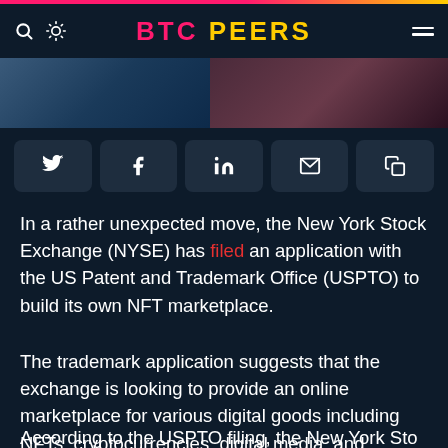BTC PEERS
[Figure (photo): Two partial photographs visible as a horizontal strip: left portion shows a person in blue, right portion shows another person.]
[Figure (infographic): Social sharing button bar with icons for Twitter, Facebook, LinkedIn, Email, and Copy link.]
In a rather unexpected move, the New York Stock Exchange (NYSE) has filed an application with the US Patent and Trademark Office (USPTO) to build its own NFT marketplace.
The trademark application suggests that the exchange is looking to provide an online marketplace for various digital goods including NFTs, cryptocurrencies, digital media, and artworks.
According to the USPTO filing, the New York Sto...